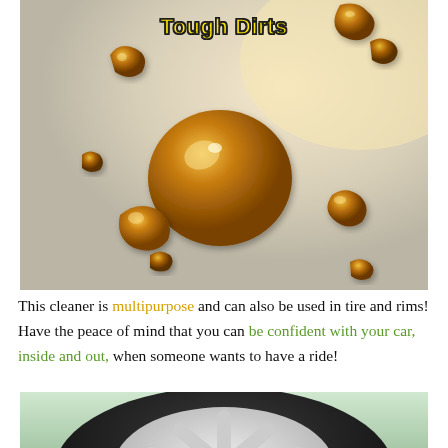Tough Dirts
[Figure (photo): Close-up photo of amber/golden resin or dirt droplets on a light gray surface, with varying sizes. The largest droplet is a round dome in the center, surrounded by smaller irregular-shaped pieces scattered around.]
This cleaner is multipurpose and can also be used in tire and rims! Have the peace of mind that you can be confident with your car, inside and out, when someone wants to have a ride!
[Figure (photo): Close-up photo of a white car wheel rim with black tire, viewed from below/side angle.]